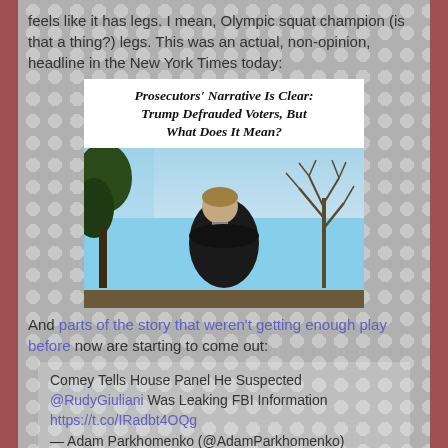feels like it has legs. I mean, Olympic squat champion (is that a thing?) legs. This was an actual, non-opinion, headline in the New York Times today:
[Figure (screenshot): New York Times article card with bold italic headline 'Prosecutors' Narrative Is Clear: Trump Defrauded Voters, But What Does It Mean?' and a photo of a man in a dark suit bowing his head outdoors with trees in the background]
And parts of the story that weren't getting enough play before now are starting to come out:
Comey Tells House Panel He Suspected @RudyGiuliani Was Leaking FBI Information https://t.co/IRadbt4OQg — Adam Parkhomenko (@AdamParkhomenko)